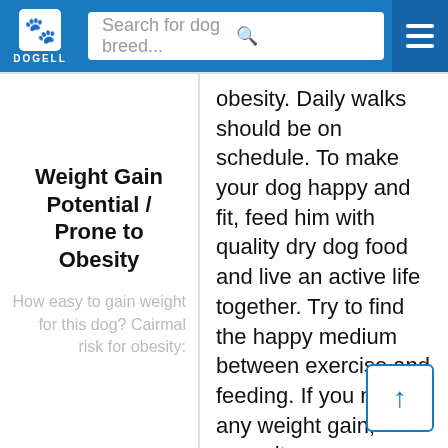DOGELL — Search for dog breed...
Weight Gain Potential / Prone to Obesity
How easy to gain weight for this dog? Cairmal risk for obesity:
obesity. Daily walks should be on schedule. To make your dog happy and fit, feed him with quality dry dog food and live an active life together. Try to find the happy medium between exercise and feeding. If you notice any weight gain, consult your veterinarian and make a diet plan. Reduce unhealthy food and snacks, and measure the Cairmal's weight regularly.